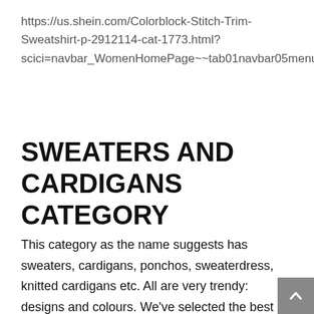https://us.shein.com/Colorblock-Stitch-Trim-Sweatshirt-p-2912114-cat-1773.html?scici=navbar_WomenHomePage~~tab01navbar05menu02~~5_2~~real_1773~~~~0
SWEATERS AND CARDIGANS CATEGORY
This category as the name suggests has sweaters, cardigans, ponchos, sweaterdress, knitted cardigans etc. All are very trendy: designs and colours. We've selected the best ones from SHEIN which you wouldn't wanna miss out this fall.